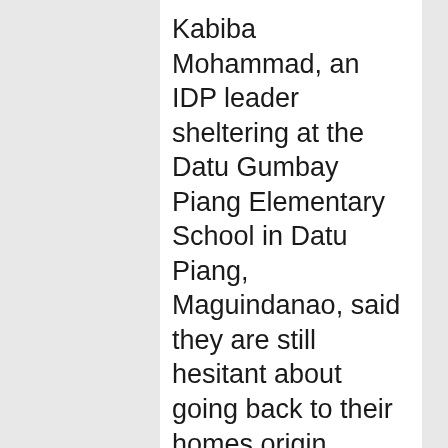Kabiba Mohammad, an IDP leader sheltering at the Datu Gumbay Piang Elementary School in Datu Piang, Maguindanao, said they are still hesitant about going back to their homes origin despite the Somo and Soma declarations because soldiers are still present in their communities.
She said they are worried that while in their homes they might be caught in the middle of crossfire between feuding clans.